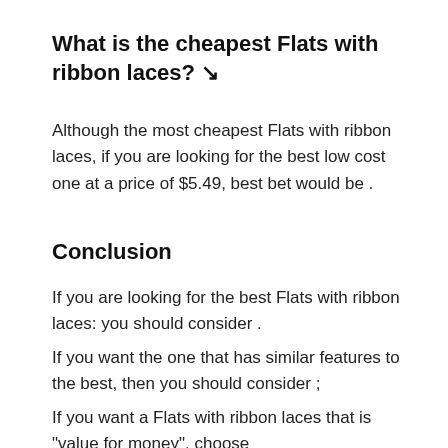What is the cheapest Flats with ribbon laces? ↘
Although the most cheapest Flats with ribbon laces, if you are looking for the best low cost one at a price of $5.49, best bet would be .
Conclusion
If you are looking for the best Flats with ribbon laces: you should consider .
If you want the one that has similar features to the best, then you should consider ;
If you want a Flats with ribbon laces that is "value for money", choose